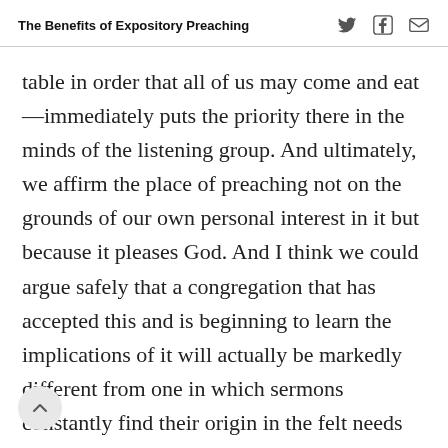The Benefits of Expository Preaching
table in order that all of us may come and eat—immediately puts the priority there in the minds of the listening group. And ultimately, we affirm the place of preaching not on the grounds of our own personal interest in it but because it pleases God. And I think we could argue safely that a congregation that has accepted this and is beginning to learn the implications of it will actually be markedly different from one in which sermons constantly find their origin in the felt needs of people.